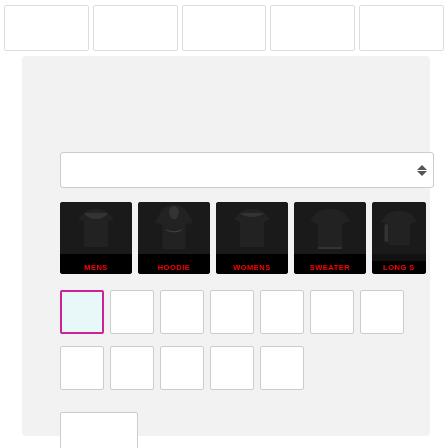[Figure (screenshot): E-commerce or design tool UI showing top thumbnail strip, dropdown selector, category row with apparel types (MENS, HOODIE, WOMENS, SWEATER, LONG S...), and color swatches grid below]
[Figure (screenshot): Category icons showing black t-shirts and hoodies labeled MENS, HOODIE, WOMENS, SWEATER, LONG S (partially visible)]
[Figure (screenshot): Color swatch grid with first swatch selected (pink/magenta border, light blue fill), remaining swatches are white/empty]